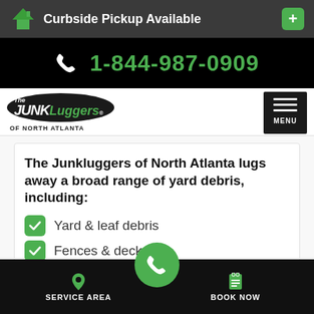Curbside Pickup Available
1-844-987-0909
[Figure (logo): The Junkluggers of North Atlanta logo with oval dark background]
MENU
The Junkluggers of North Atlanta lugs away a broad range of yard debris, including:
Yard & leaf debris
Fences & decks
Tree trimmings
SERVICE AREA  BOOK NOW